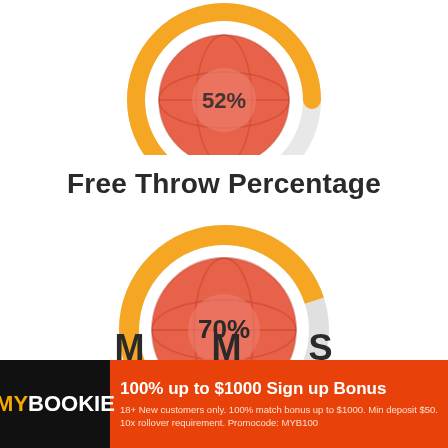[Figure (donut-chart): Partial donut chart visible at top of page, salmon/red fill with gold accent, basketball design inside]
Free Throw Percentage
[Figure (donut-chart): Free Throw Percentage]
100% up to $1000 Sign up Bonus
18+ New customers only. 100% match bonus up to $1000. Min deposit $50. 10x rollover requirement. Promocode: MYB100